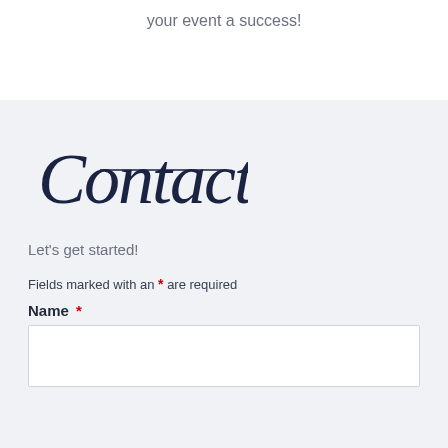your event a success!
Contact
Let's get started!
Fields marked with an * are required
Name *